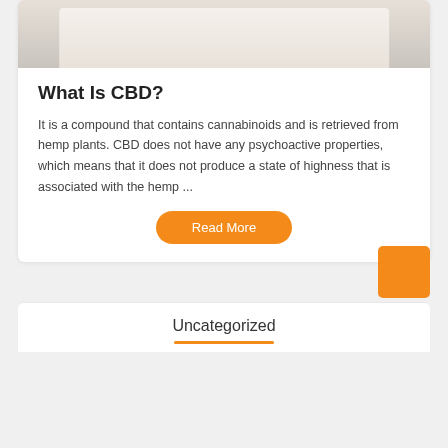[Figure (photo): Top portion of a photo showing hemp/CBD products against a light background, partially cropped]
What Is CBD?
It is a compound that contains cannabinoids and is retrieved from hemp plants. CBD does not have any psychoactive properties, which means that it does not produce a state of highness that is associated with the hemp ...
Read More
Uncategorized